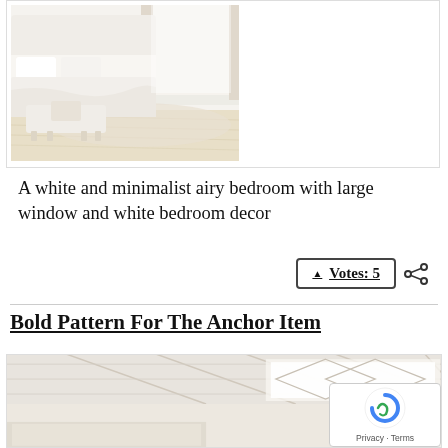[Figure (photo): A white and minimalist bedroom with large windows, white bed, white ottoman, and light hardwood floors]
A white and minimalist airy bedroom with large window and white bedroom decor
▲ Votes: 5
Bold Pattern For The Anchor Item
[Figure (photo): A bright white room with geometric ceiling pattern, partially visible with reCAPTCHA overlay]